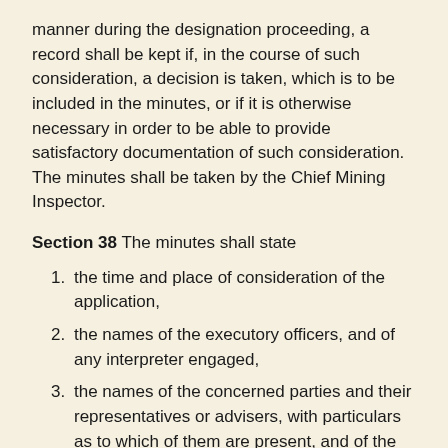manner during the designation proceeding, a record shall be kept if, in the course of such consideration, a decision is taken, which is to be included in the minutes, or if it is otherwise necessary in order to be able to provide satisfactory documentation of such consideration. The minutes shall be taken by the Chief Mining Inspector.
Section 38 The minutes shall state
the time and place of consideration of the application,
the names of the executory officers, and of any interpreter engaged,
the names of the concerned parties and their representatives or advisers, with particulars as to which of them are present, and of the properties affected by the application, as well as particulars of the concerned parties' connection to the properties,
the names of others who are to be notified of a